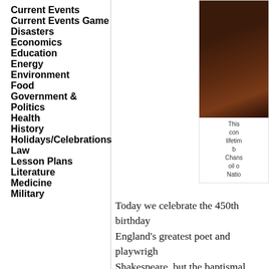Current Events
Current Events Game
Disasters
Economics
Education
Energy
Environment
Food
Government & Politics
Health
History
Holidays/Celebrations
Law
Lesson Plans
Literature
Medicine
Military
[Figure (photo): Portrait painting of Shakespeare, dark background, oil on canvas style]
This con lifetime b Chans oil c Natio
Today we celebrate the 450th birthday of England's greatest poet and playwright Shakespeare, but the baptismal record at Trinity in Stratford-upon-Avon shows tha 1564, and the poet's birth has traditio